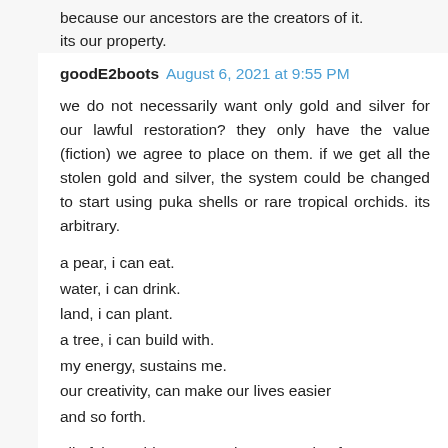because our ancestors are the creators of it. its our property.
goodE2boots August 6, 2021 at 9:55 PM
we do not necessarily want only gold and silver for our lawful restoration? they only have the value (fiction) we agree to place on them. if we get all the stolen gold and silver, the system could be changed to start using puka shells or rare tropical orchids. its arbitrary.
a pear, i can eat.
water, i can drink.
land, i can plant.
a tree, i can build with.
my energy, sustains me.
our creativity, can make our lives easier
and so forth.
all of these things were what was stolen from us, along with gold and silver.